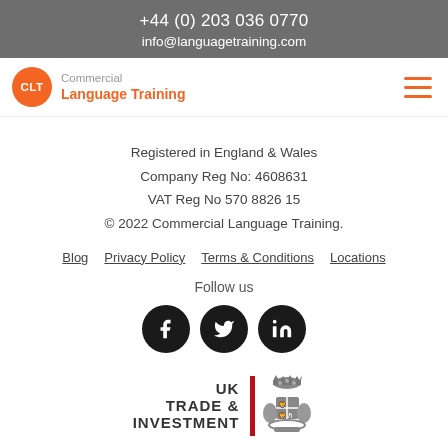+44 (0) 203 036 0770
info@languagetraining.com
[Figure (logo): CLT Commercial Language Training logo with orange circle badge and orange text]
Registered in England & Wales
Company Reg No: 4608631
VAT Reg No 570 8826 15
© 2022 Commercial Language Training.
Blog   Privacy Policy   Terms & Conditions   Locations
Follow us
[Figure (illustration): Facebook, Twitter, and LinkedIn social media icons as dark circular buttons]
[Figure (logo): UK Trade & Investment logo with red bar and royal crest]